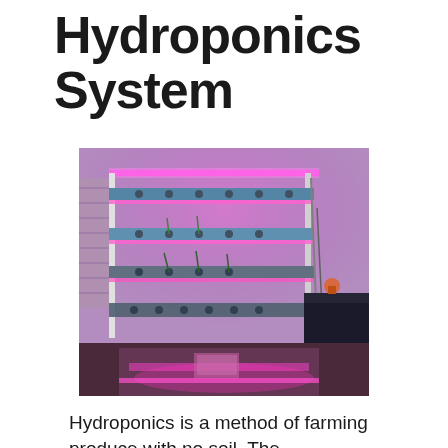Hydroponics System
[Figure (photo): Indoor hydroponics setup with multiple horizontal PVC pipe shelves mounted on a wall, lit by pink/purple LED grow lights in a room with a table in the foreground]
Hydroponics is a method of farming produce with no soil. The…